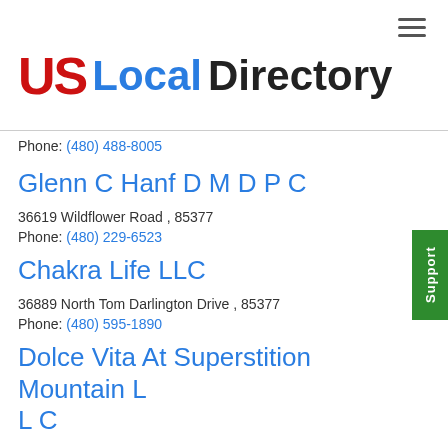US Local Directory
Phone: (480) 488-8005
Glenn C Hanf D M D P C
36619 Wildflower Road , 85377
Phone: (480) 229-6523
Chakra Life LLC
36889 North Tom Darlington Drive , 85377
Phone: (480) 595-1890
Dolce Vita At Superstition Mountain L L C
, 85377